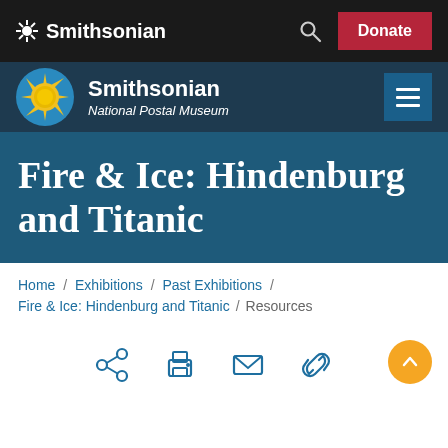Smithsonian
[Figure (logo): Smithsonian National Postal Museum logo with sun emblem on blue circle]
Smithsonian National Postal Museum
Fire & Ice: Hindenburg and Titanic
Home / Exhibitions / Past Exhibitions / Fire & Ice: Hindenburg and Titanic / Resources
[Figure (infographic): Social share icons: share, print, email, link. Scroll to top button (orange circle with up arrow) on the right.]